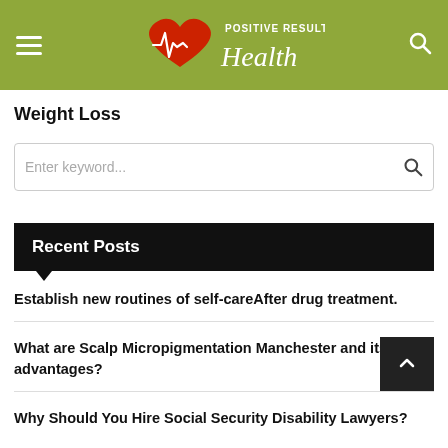Positive Results Health
Weight Loss
Enter keyword...
Recent Posts
Establish new routines of self-careAfter drug treatment.
What are Scalp Micropigmentation Manchester and its advantages?
Why Should You Hire Social Security Disability Lawyers?